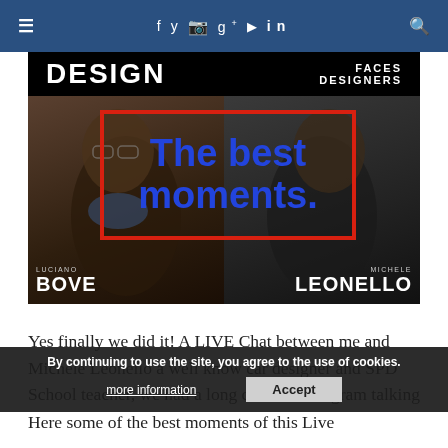≡  f  y  Instagram  g+  YouTube  in  🔍
[Figure (photo): Design Faces Designers promotional image featuring Luciano Bove and Michele Leonello with red-outlined overlay box saying 'The best moments' in blue text]
Yes finally we did it! A LIVE Chat between me and Michele Leonello a well know car designer and SPD School teacher, we had a long chat on Instagram talking about Design questions...
By continuing to use the site, you agree to the use of cookies. more information  Accept
Here some of the best moments of this Live